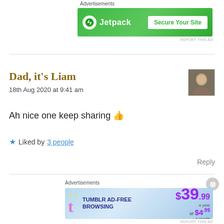[Figure (screenshot): Jetpack advertisement banner - green background with Jetpack logo and 'Secure Your Site' button]
Dad, it's Liam
18th Aug 2020 at 9:41 am

Ah nice one keep sharing 👍

★ Liked by 3 people

Reply
[Figure (screenshot): Tumblr ad-free browsing advertisement - $39.99 a year or $4.99 a month]